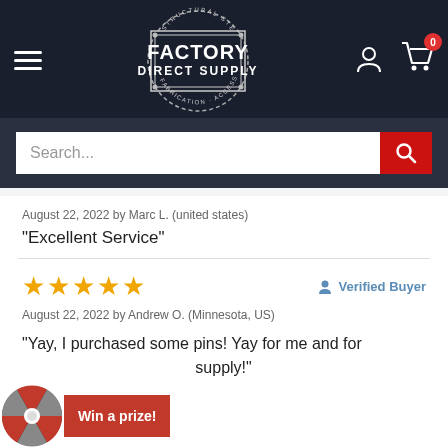[Figure (logo): Factory Direct Supply logo — circular badge with text STRUCTURAL STEEL, REBAR, FABRICATION, ACCESSORIES around a rectangular badge reading FACTORY DIRECT SUPPLY]
Search...
August 22, 2022 by Marc L. (united states)
“Excellent Service”
August 22, 2022 by Andrew O. (Minnesota, US)
“Yay, I purchased some pins! Yay for me and for supply!”
Verified Buyer
Win a prize!